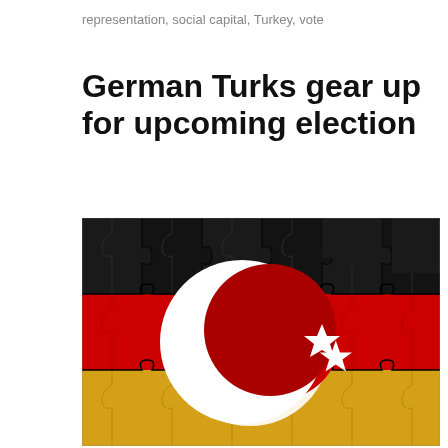representation, social capital, Turkey, vote
German Turks gear up for upcoming election
[Figure (photo): A puzzle image combining the German flag (black, red, gold horizontal stripes) with the Turkish crescent and star symbol overlaid, rendered as interlocking puzzle pieces]